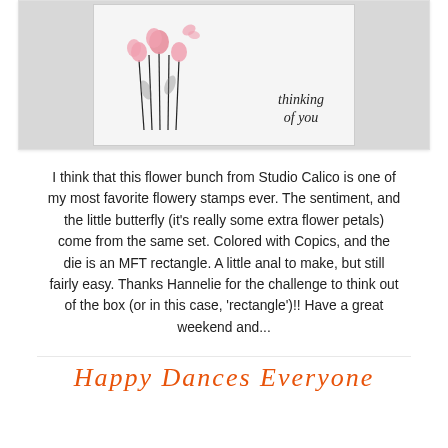[Figure (photo): A handmade greeting card with pink flowers and the text 'thinking of you' in script lettering on a cream/white background]
I think that this flower bunch from Studio Calico is one of my most favorite flowery stamps ever. The sentiment, and the little butterfly (it's really some extra flower petals) come from the same set. Colored with Copics, and the die is an MFT rectangle. A little anal to make, but still fairly easy. Thanks Hannelie for the challenge to think out of the box (or in this case, 'rectangle')!! Have a great weekend and...
Happy Dances Everyone